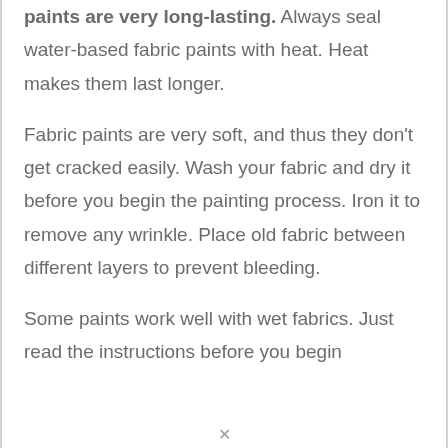paints are very long-lasting. Always seal water-based fabric paints with heat. Heat makes them last longer.
Fabric paints are very soft, and thus they don't get cracked easily. Wash your fabric and dry it before you begin the painting process. Iron it to remove any wrinkle. Place old fabric between different layers to prevent bleeding.
Some paints work well with wet fabrics. Just read the instructions before you begin